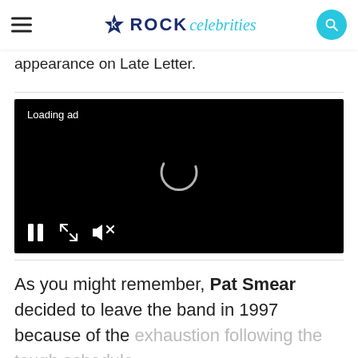ROCK celebrities
appearance on Late Letter.
[Figure (screenshot): Video player with black background, 'Loading ad' text, spinning loading circle, and playback controls (pause, fullscreen, mute)]
As you might remember, Pat Smear decided to leave the band in 1997 because of the exhaustion following the tough schedule.